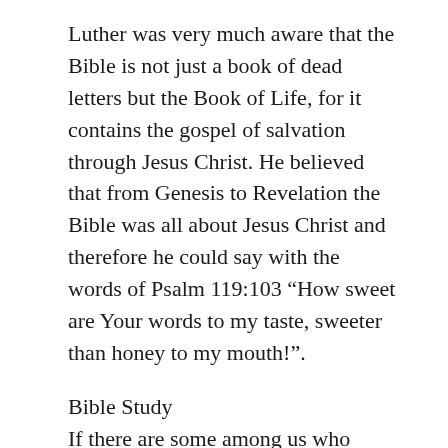Luther was very much aware that the Bible is not just a book of dead letters but the Book of Life, for it contains the gospel of salvation through Jesus Christ. He believed that from Genesis to Revelation the Bible was all about Jesus Christ and therefore he could say with the words of Psalm 119:103 “How sweet are Your words to my taste, sweeter than honey to my mouth!”.
Bible Study
If there are some among us who don’t read the Bible, and I hope there aren’t any, then get the dust off the Bible. And, very importantly, if you haven’t already done that, join a Bible Study Club in your congregation. Studying God’s